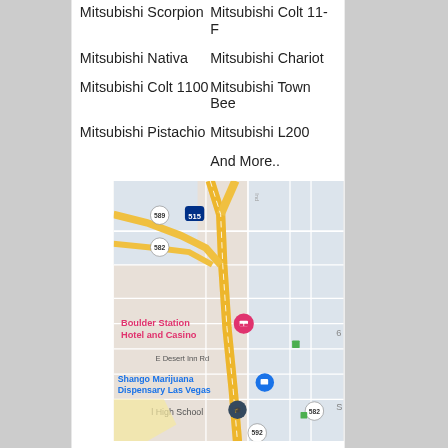Mitsubishi Scorpion
Mitsubishi Colt 11-F
Mitsubishi Nativa
Mitsubishi Chariot
Mitsubishi Colt 1100
Mitsubishi Town Bee
Mitsubishi Pistachio
Mitsubishi L200
And More..
[Figure (map): Google Maps screenshot showing area around Boulder Station Hotel and Casino in Las Vegas, Nevada. Visible roads include Interstate 515, routes 589, 582, 592. Landmarks include Boulder Station Hotel and Casino (pink marker), Shango Marijuana Dispensary Las Vegas (blue marker), a high school (dark marker). Street E Desert Inn Rd is labeled.]